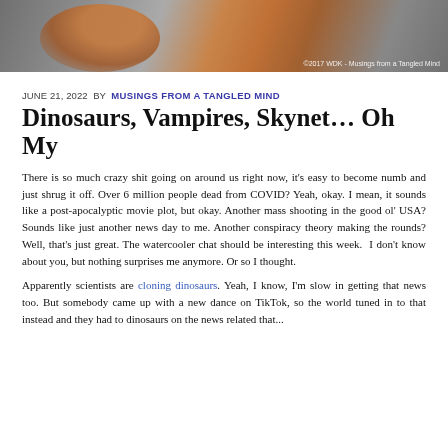[Figure (illustration): Partial illustration of a figure with orange/red hair against a gray background, with watermark text '©2017 WDK - Musings from a Tangled Mind' in lower right corner.]
JUNE 21, 2022  BY  MUSINGS FROM A TANGLED MIND
Dinosaurs, Vampires, Skynet… Oh My
There is so much crazy shit going on around us right now, it's easy to become numb and just shrug it off. Over 6 million people dead from COVID? Yeah, okay. I mean, it sounds like a post-apocalyptic movie plot, but okay. Another mass shooting in the good ol' USA? Sounds like just another news day to me. Another conspiracy theory making the rounds? Well, that's just great. The watercooler chat should be interesting this week.  I don't know about you, but nothing surprises me anymore. Or so I thought.
Apparently scientists are cloning dinosaurs. Yeah, I know, I'm slow in getting that news too. But somebody came up with a new dance on TikTok, so the world tuned in to that instead and they had to dinosaurs on the news related that...